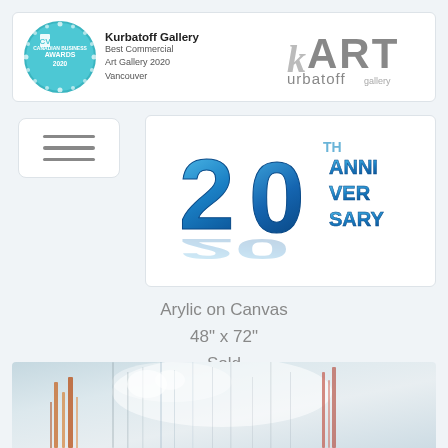[Figure (logo): Kurbatoff Gallery header with Canadian Business Awards 2020 badge, gallery name, tagline 'Best Commercial Art Gallery 2020 Vancouver', and kART urbatoff gallery logo]
[Figure (illustration): Hamburger/menu icon button with three horizontal lines]
[Figure (illustration): 3D blue metallic '20th Anniversary' text logo on white background]
Arylic on Canvas
48" x 72"
Sold
[Figure (photo): Abstract painting on canvas showing misty blue-white background with vertical dripping strokes in orange, red and grey colors]